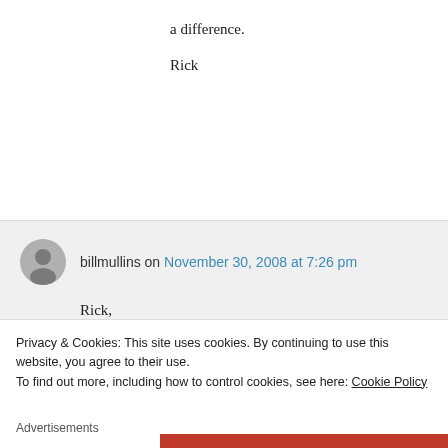a difference.
Rick
billmullins on November 30, 2008 at 7:26 pm
Rick,
Yes, getting the message out is an important aspect of what we do. It’s always a pleasure, for me, to link back to
Privacy & Cookies: This site uses cookies. By continuing to use this website, you agree to their use.
To find out more, including how to control cookies, see here: Cookie Policy
Close and accept
Advertisements